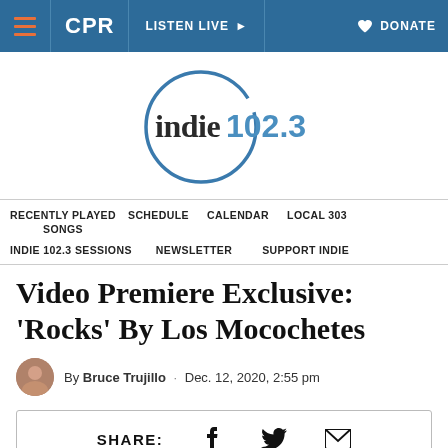CPR | LISTEN LIVE | DONATE
[Figure (logo): indie 102.3 radio station logo — circular brushstroke with 'indie102.3' text in blue]
RECENTLY PLAYED SONGS   SCHEDULE   CALENDAR   LOCAL 303
INDIE 102.3 SESSIONS   NEWSLETTER   SUPPORT INDIE
Video Premiere Exclusive: 'Rocks' By Los Mocochetes
By Bruce Trujillo · Dec. 12, 2020, 2:55 pm
SHARE: